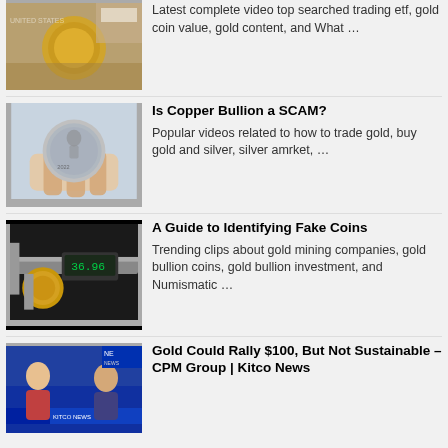[Figure (photo): Photo of a gold coin on a surface with papers]
Latest complete video top searched trading etf, gold coin value, gold content, and What …
[Figure (photo): Photo of a silver coin held in fingers]
Is Copper Bullion a SCAM?
Popular videos related to how to trade gold, buy gold and silver, silver amrket, …
[Figure (photo): Photo of a gold coin being measured with digital calipers]
A Guide to Identifying Fake Coins
Trending clips about gold mining companies, gold bullion coins, gold bullion investment, and Numismatic …
[Figure (photo): Screenshot of a news program with two people]
Gold Could Rally $100, But Not Sustainable – CPM Group | Kitco News